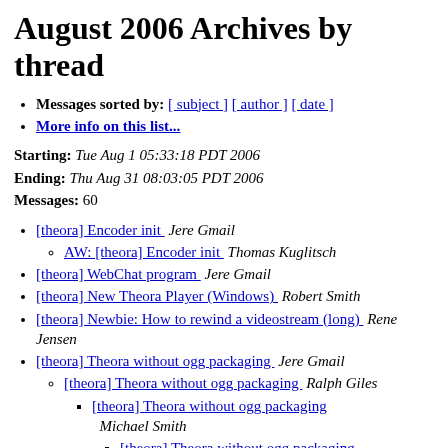August 2006 Archives by thread
Messages sorted by: [ subject ] [ author ] [ date ]
More info on this list...
Starting: Tue Aug 1 05:33:18 PDT 2006
Ending: Thu Aug 31 08:03:05 PDT 2006
Messages: 60
[theora] Encoder init   Jere Gmail
AW: [theora] Encoder init   Thomas Kuglitsch
[theora] WebChat program   Jere Gmail
[theora] New Theora Player (Windows)   Robert Smith
[theora] Newbie: How to rewind a videostream (long)   Rene Jensen
[theora] Theora without ogg packaging   Jere Gmail
[theora] Theora without ogg packaging   Ralph Giles
[theora] Theora without ogg packaging   Michael Smith
[theora] Theora without ogg packaging   Hannes Hauswedell
[theora] VideoConference program   Jere Gmail